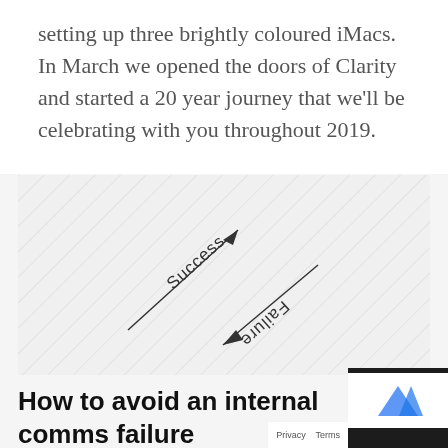setting up three brightly coloured iMacs. In March we opened the doors of Clarity and started a 20 year journey that we’ll be celebrating with you throughout 2019.
[Figure (illustration): Diagonal hatched background with two diagonal arrow labels: 'Success' pointing upper-right and 'Failure' pointing lower-left (upside down text), illustrating opposing directions on a light grey striped background.]
How to avoid an internal comms failure